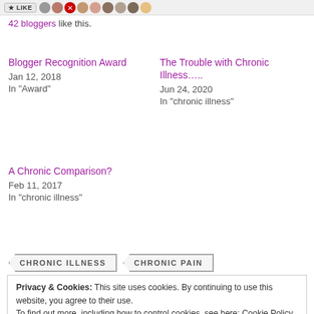42 bloggers like this.
Blogger Recognition Award
Jan 12, 2018
In "Award"
The Trouble with Chronic Illness…..
Jun 24, 2020
In "chronic illness"
A Chronic Comparison?
Feb 11, 2017
In "chronic illness"
CHRONIC ILLNESS
CHRONIC PAIN
Privacy & Cookies: This site uses cookies. By continuing to use this website, you agree to their use.
To find out more, including how to control cookies, see here: Cookie Policy
Close and accept